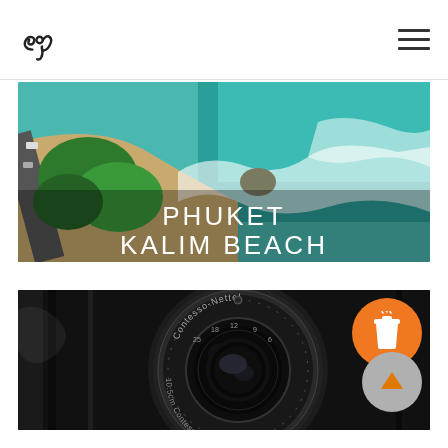Logo and navigation header
[Figure (photo): Aerial drone view of Phuket Kalim Beach showing turquoise ocean water, beach sand, waves, road, palm trees and rocks from above. Text overlay reads PHUKET KALIM BEACH.]
PHUKET
KALIM BEACH
[Figure (photo): Close-up macro photograph of a vintage camera lens, showing the Contessa-Nettel 10.5cm Contessa-Nettel No lens details and aperture ring markings in dark tones.]